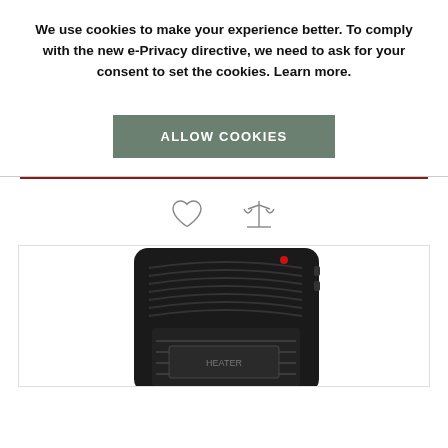We use cookies to make your experience better. To comply with the new e-Privacy directive, we need to ask for your consent to set the cookies. Learn more.
[Figure (other): ALLOW COOKIES button - a rectangular green-grey button with white bold uppercase text]
[Figure (other): Heart icon (wishlist) and balance/scale icon (compare), centered row of outline icons]
[Figure (photo): Photo of a black electric space heater with ridged vents on top and front, red indicator light visible]